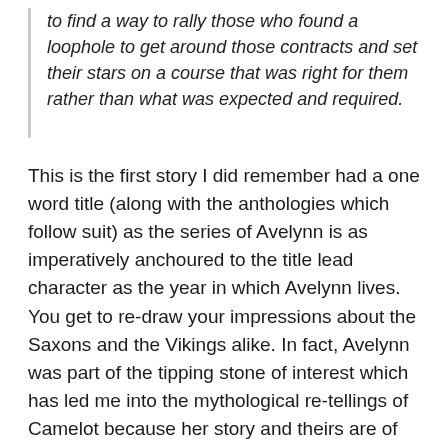to find a way to rally those who found a loophole to get around those contracts and set their stars on a course that was right for them rather than what was expected and required.
This is the first story I did remember had a one word title (along with the anthologies which follow suit) as the series of Avelynn is as imperatively anchoured to the title lead character as the year in which Avelynn lives. You get to re-draw your impressions about the Saxons and the Vikings alike. In fact, Avelynn was part of the tipping stone of interest which has led me into the mythological re-tellings of Camelot because her story and theirs are of common interest to a girl whose own ancestral past interlinks with the elements of time and story within them both.